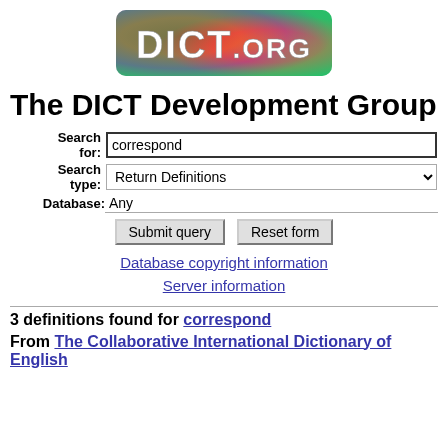[Figure (logo): DICT.org logo — colorful abstract background with DICT.ORG text in white bold letters, rounded rectangle border]
The DICT Development Group
Search for: correspond
Search type: Return Definitions
Database: Any
Submit query   Reset form
Database copyright information
Server information
3 definitions found for correspond
From The Collaborative International Dictionary of English